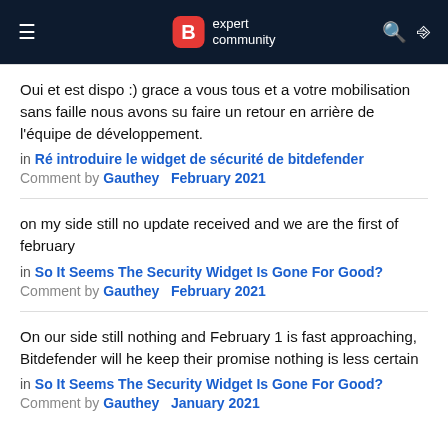B expert community
Oui et est dispo :) grace a vous tous et a votre mobilisation sans faille nous avons su faire un retour en arrière de l'équipe de développement.
in Ré introduire le widget de sécurité de bitdefender
Comment by Gauthey   February 2021
on my side still no update received and we are the first of february
in So It Seems The Security Widget Is Gone For Good?
Comment by Gauthey   February 2021
On our side still nothing and February 1 is fast approaching, Bitdefender will he keep their promise nothing is less certain
in So It Seems The Security Widget Is Gone For Good?
Comment by Gauthey   January 2021